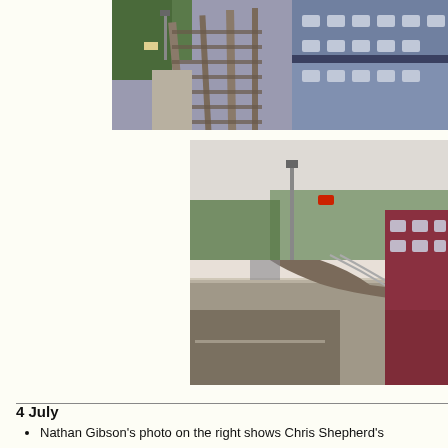[Figure (photo): Aerial/elevated view of railway tracks with trains, showing track junctions and railway carriages. Taken from above looking down at the tracks.]
[Figure (photo): Railway station platform view showing a curved track with a train on the right side, platform in the foreground, signals visible, trees in background.]
4 July
Nathan Gibson's photo on the right shows Chris Shepherd's